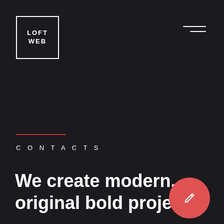[Figure (logo): LOFTWEB logo — white text 'LOFT WEB' in a white square border on dark background]
[Figure (other): Hamburger menu icon — two white horizontal lines (long and short) in top-right corner]
CONTACTS
We create modern, original bold projects.